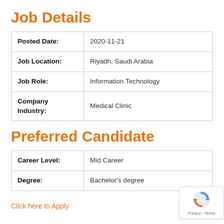Job Details
| Posted Date: | 2020-11-21 |
| Job Location: | Riyadh, Saudi Arabia |
| Job Role: | Information Technology |
| Company Industry: | Medical Clinic |
Preferred Candidate
| Career Level: | Mid Career |
| Degree: | Bachelor's degree |
Click here to Apply